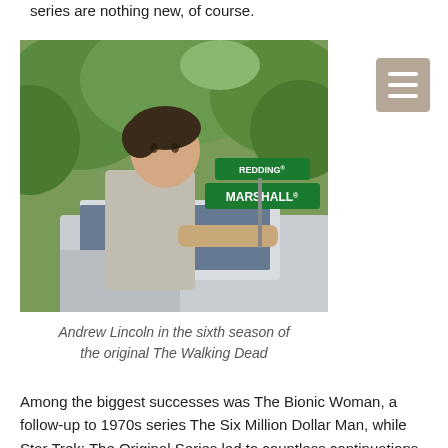series are nothing new, of course.
[Figure (photo): Andrew Lincoln standing beside a vehicle next to street signs reading 'REDDING' and 'MARSHALL', outdoors with green trees in the background. Scene from The Walking Dead.]
Andrew Lincoln in the sixth season of the original The Walking Dead
Among the biggest successes was The Bionic Woman, a follow-up to 1970s series The Six Million Dollar Man, while Star Trek: The Original Series led to countless continuations, including The Next Generation, Deep Space Nine, Voyager and Enterprise.